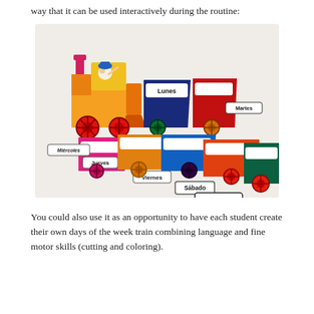way that it can be used interactively during the routine:
[Figure (photo): A colorful children's educational train craft showing days of the week in Spanish. The train engine leads several colorful wagons, each labeled with a day: Lunes (blue), Martes (red), Miércoles, Jueves, Viernes, Sábado, Domingo (largest label). Labels appear as white rectangular cards with black text scattered around the train cars.]
You could also use it as an opportunity to have each student create their own days of the week train combining language and fine motor skills (cutting and coloring).